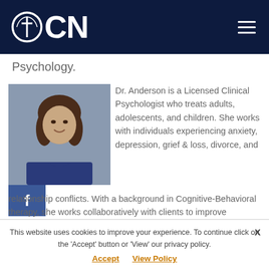OCN
Psychology.
[Figure (photo): Headshot of Dr. Anderson, a woman with dark hair, smiling, wearing a blue lace top, against a gray background.]
Dr. Anderson is a Licensed Clinical Psychologist who treats adults, adolescents, and children. She works with individuals experiencing anxiety, depression, grief & loss, divorce, and relationship conflicts. With a background in Cognitive-Behavioral therapy, she works collaboratively with clients to improve emotional, physical and spiritual well-being. Dr. Anderson received her Doctorate in Psychology from The
This website uses cookies to improve your experience. To continue click on the 'Accept' button or 'View' our privacy policy.
Accept   View Policy